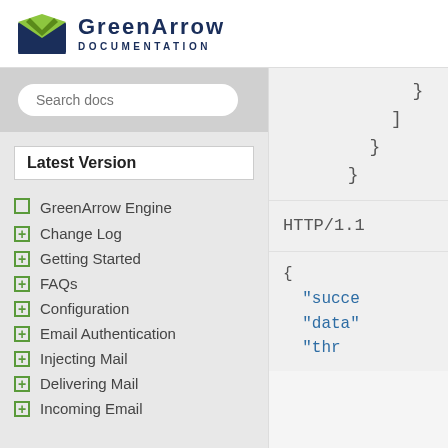[Figure (logo): GreenArrow Documentation logo with green envelope icon and dark blue text]
Search docs
Latest Version
GreenArrow Engine
Change Log
Getting Started
FAQs
Configuration
Email Authentication
Injecting Mail
Delivering Mail
Incoming Email
[Figure (screenshot): Code panel showing JSON closing braces: }, ], }, } and HTTP/1.1 response and JSON object beginning with { "succe..., "data", "thr...]